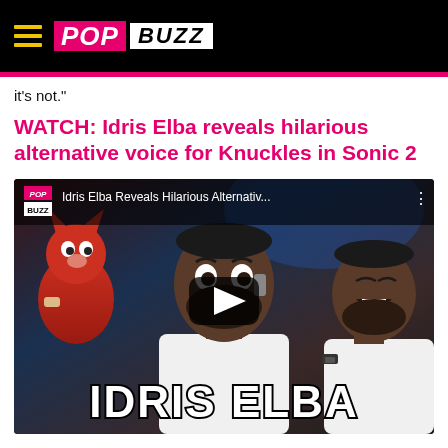PopBuzz
it's not."
WATCH: Idris Elba reveals hilarious alternative voice for Knuckles in Sonic 2
[Figure (screenshot): YouTube video thumbnail showing Idris Elba with Knuckles character from Sonic the Hedgehog 2. Video title reads 'Idris Elba Reveals Hilarious Alternativ...' with PopBuzz logo. Large 'IDRIS ELBA' text overlaid at the bottom with a play button in the center.]